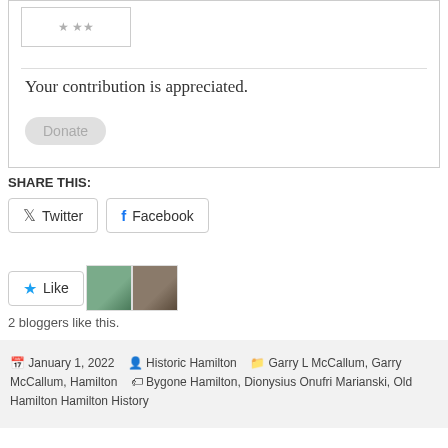[Figure (other): Top box with inner image placeholder, horizontal rule, donation text and donate button]
Your contribution is appreciated.
SHARE THIS:
Twitter  Facebook  Like  2 bloggers like this.
January 1, 2022  Historic Hamilton  Garry L McCallum, Garry McCallum, Hamilton  Bygone Hamilton, Dionysius Onufri Marianski, Old Hamilton Hamilton History